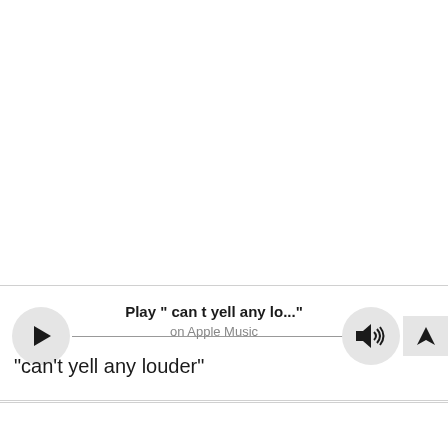[Figure (screenshot): Siri interface bar showing a play button (circle with triangle), a horizontal line connector, speaker/volume button (circle with speaker icon), and an arrow button. Center text reads 'Play " can t yell any lo..."' with subtitle 'on Apple Music'.]
“can’t yell any louder”